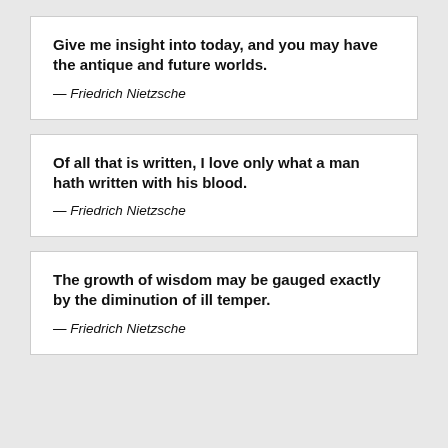Give me insight into today, and you may have the antique and future worlds.
— Friedrich Nietzsche
Of all that is written, I love only what a man hath written with his blood.
— Friedrich Nietzsche
The growth of wisdom may be gauged exactly by the diminution of ill temper.
— Friedrich Nietzsche